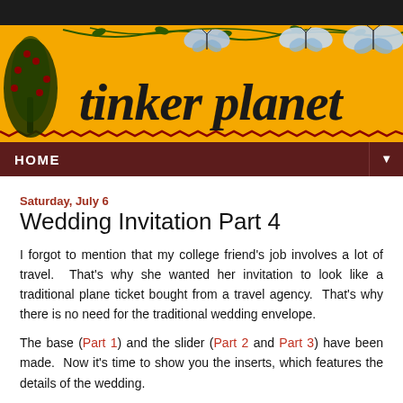[Figure (illustration): Dark charcoal/black header bar at top of blog page]
[Figure (illustration): Yellow/orange banner header with decorative tree on left, vines and blue butterflies on top, stylized black text reading 'tinker planet' in the center-right area, with a zigzag/chevron border at the bottom]
HOME
Saturday, July 6
Wedding Invitation Part 4
I forgot to mention that my college friend's job involves a lot of travel.  That's why she wanted her invitation to look like a traditional plane ticket bought from a travel agency.  That's why there is no need for the traditional wedding envelope.
The base (Part 1) and the slider (Part 2 and Part 3) have been made.  Now it's time to show you the inserts, which features the details of the wedding.
With Adobe Photoshop, I typed the details of the wedding